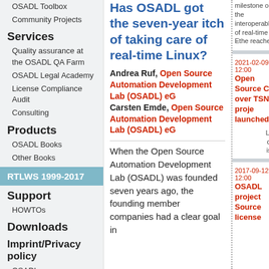OSADL Toolbox
Community Projects
Services
Quality assurance at the OSADL QA Farm
OSADL Legal Academy
License Compliance Audit
Consulting
Products
OSADL Books
Other Books
RTLWS 1999-2017
Support
HOWTOs
Downloads
Imprint/Privacy policy
OSADL
Has OSADL got the seven-year itch of taking care of real-time Linux?
Andrea Ruf, Open Source Automation Development Lab (OSADL) eG
Carsten Emde, Open Source Automation Development Lab (OSADL) eG
When the Open Source Automation Development Lab (OSADL) was founded seven years ago, the founding member companies had a clear goal in
milestone on the interoperable of real-time Ether reached
2021-02-09 12:00
Open Source C over TSN proje launched
Lette call f is no
2017-09-12 12:00
OSADL project Source license